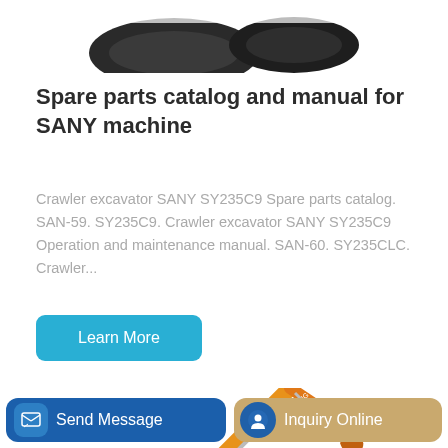[Figure (photo): Partial view of a SANY crawler excavator track/undercarriage at the top of the page, dark colored, cropped]
Spare parts catalog and manual for SANY machine
Crawler excavator SANY SY235C9 Spare parts catalog. SAN-59. SY235C9. Crawler excavator SANY SY235C9 Operation and maintenance manual. SAN-60. SY235CLC. Crawler...
[Figure (other): Teal/blue 'Learn More' button]
[Figure (photo): Orange LONKING crawler excavator shown from the side, partial view, arm raised]
[Figure (other): Bottom action bar with 'Send Message' button (blue) and 'Inquiry Online' button (tan/gold)]